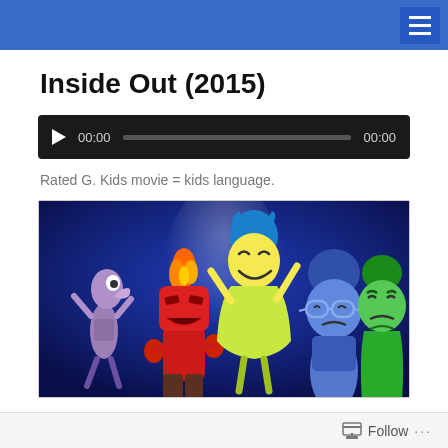Navigation header with hamburger menu
Inside Out (2015)
[Figure (other): Audio player bar with play button, progress bar showing 00:00 / 00:00]
Rated G. Kids movie = kids language.
[Figure (photo): Promotional image from the 2015 Pixar movie Inside Out showing the five emotion characters: Fear (purple), Anger (red with fire), Joy (yellow-green), Sadness (blue), and Disgust (green) against a dark blue background]
Follow